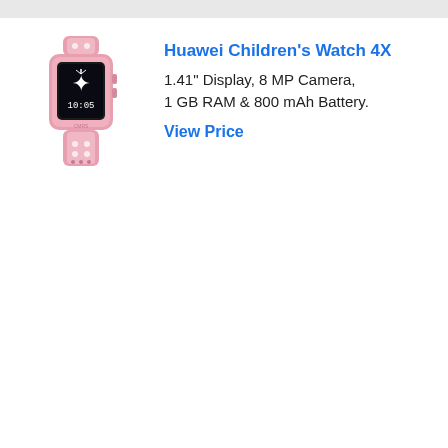[Figure (photo): Pink Huawei Children's Watch 4X smartwatch with pink silicone band, showing a decorative screen with a star/fairy design and time display]
Huawei Children's Watch 4X
1.41" Display, 8 MP Camera, 1 GB RAM & 800 mAh Battery.
View Price